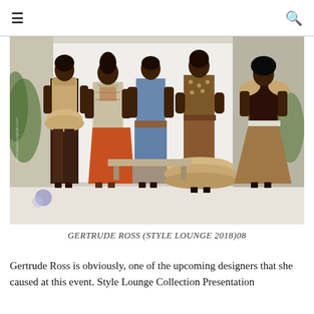☰  [menu icon]  [search icon]
[Figure (photo): Five female models standing on a white runway platform outdoors, wearing African-inspired fashion designs by Gertrude Ross from Style Lounge 2018. Outfits feature brown, tan, rust/orange, and blue fabrics with ruffles, peplums, and print patterns.]
GERTRUDE ROSS (STYLE LOUNGE 2018)08
Gertrude Ross is obviously, one of the upcoming designers that she caused at this event. Style Lounge Collection Presentation